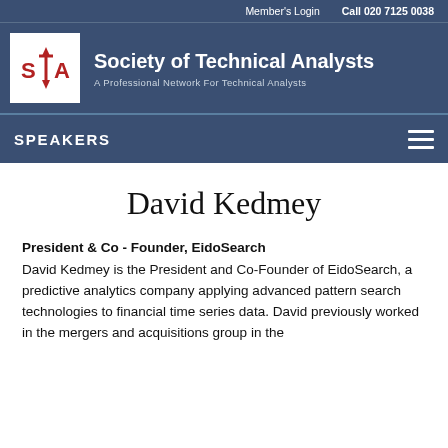Member's Login   Call 020 7125 0038
[Figure (logo): Society of Technical Analysts logo with STA letters and arrows, red and white on dark navy background]
David Kedmey
SPEAKERS
President & Co - Founder, EidoSearch
David Kedmey is the President and Co-Founder of EidoSearch, a predictive analytics company applying advanced pattern search technologies to financial time series data. David previously worked in the mergers and acquisitions group in the